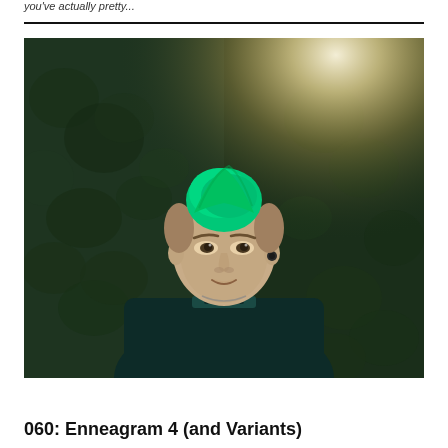you've actually pretty...
[Figure (photo): Portrait of a person with green shaved hair wearing a dark teal jacket, standing in front of a dark green hedge/bush wall with dramatic light flare in upper right corner]
060: Enneagram 4 (and Variants)